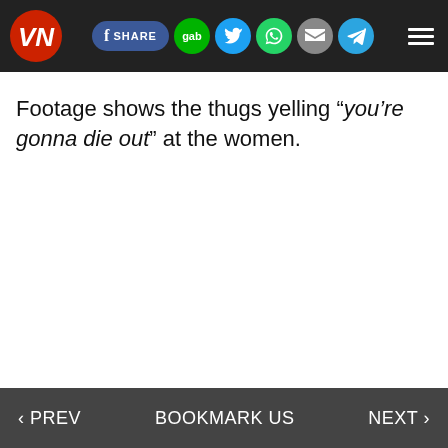VN | SHARE | gab | Twitter | WhatsApp | Email | Telegram | Menu
Footage shows the thugs yelling “you’re gonna die out” at the women.
‹ PREV   BOOKMARK US   NEXT ›